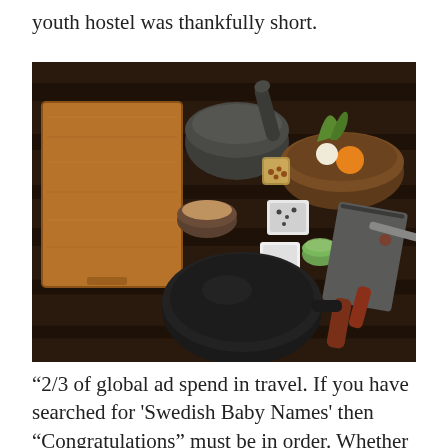youth hostel was thankfully short.
[Figure (photo): Overhead flat-lay photo on a dark wooden table showing various cooking items: a large wooden cutting board on the left, a dark granite mortar and pestle at the top center, a wooden serving bowl on the right containing herbs, an orange, and garlic, small bowls and dishes of spices and condiments, a cast iron pan at the bottom center, and a meat cleaver and knives on the right side.]
‘2/3 of global ad spend in travel. If you have searched for ‘Swedish Baby Names’ then “Congratulations” must be in order. Whether you are